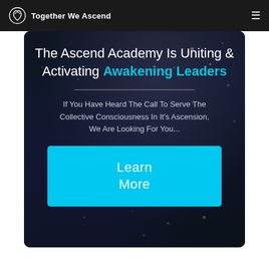Together We Ascend
The Ascend Academy Is Uniting & Activating Awakening Leaders
If You Have Heard The Call To Serve The Collective Consciousness In It's Ascension, We Are Looking For You...
Learn More